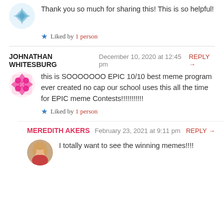Thank you so much for sharing this! This is so helpful!
Liked by 1 person
JOHNATHAN WHITESBURG  December 10, 2020 at 12:45 pm  REPLY →
this is SOOOOOOO EPIC 10/10 best meme program ever created no cap our school uses this all the time for EPIC meme Contests!!!!!!!!!!!
Liked by 1 person
MEREDITH AKERS  February 23, 2021 at 9:11 pm  REPLY →
I totally want to see the winning memes!!!!